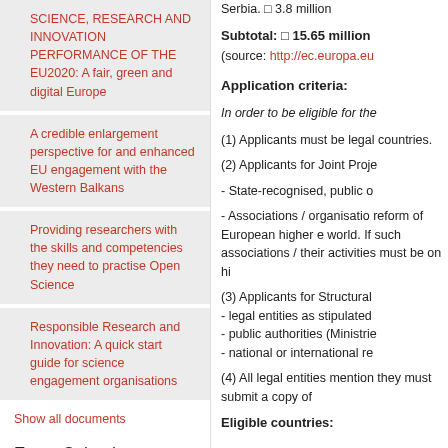SCIENCE, RESEARCH AND INNOVATION PERFORMANCE OF THE EU2020: A fair, green and digital Europe
A credible enlargement perspective for and enhanced EU engagement with the Western Balkans
Providing researchers with the skills and competencies they need to practise Open Science
Responsible Research and Innovation: A quick start guide for science engagement organisations
Show all documents
Event Calendar
AUGUST 2022
Serbia. □ 3.8 million
Subtotal: □ 15.65 million
(source: http://ec.europa.eu
Application criteria:
In order to be eligible for the
(1) Applicants must be legal countries.
(2) Applicants for Joint Proje
- State-recognised, public o
- Associations / organisatio reform of European higher e world. If such associations / their activities must be on hi
(3) Applicants for Structural - legal entities as stipulated - public authorities (Ministrie - national or international re
(4) All legal entities mention they must submit a copy of
Eligible countries: